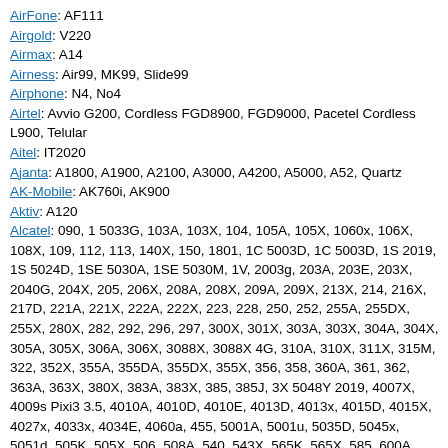AirFone: AF111
Airgold: V220
Airmax: A14
Airness: Air99, MK99, Slide99
Airphone: N4, No4
Airtel: Avvio G200, Cordless FGD8900, FGD9000, Pacetel Cordless L900, Telular
Aitel: IT2020
Ajanta: A1800, A1900, A2100, A3000, A4200, A5000, A52, Quartz
AK-Mobile: AK760i, AK900
Aktiv: A120
Alcatel: 090, 1 5033G, 103A, 103X, 104, 105A, 105X, 1060x, 106X, 108X, 109, 112, 113, 140X, 150, 1801, 1C 5003D, 1C 5003D, 1S 2019, 1S 5024D, 1SE 5030A, 1SE 5030M, 1V, 2003g, 203A, 203E, 203X, 2040G, 204X, 205, 206X, 208A, 208X, 209A, 209X, 213X, 214, 216X, 217D, 221A, 221X, 222A, 222X, 223, 228, 250, 252, 255A, 255DX, 255X, 280X, 282, 292, 296, 297, 300X, 301X, 303A, 303X, 304A, 304X, 305A, 305X, 306A, 306X, 3088X, 3088X 4G, 310A, 310X, 311X, 315M, 322, 352X, 355A, 355DA, 355DX, 355X, 356, 358, 360A, 361, 362, 363A, 363X, 380X, 383A, 383X, 385, 385J, 3X 5048Y 2019, 4007X, 4009s Pixi3 3.5, 4010A, 4010D, 4010E, 4013D, 4013x, 4015D, 4015X, 4027x, 4033x, 4034E, 4060a, 455, 5001A, 5001u, 5035D, 5045x, 5051d, 505K, 505X, 506, 508A, 540, 543X, 565K, 565X, 585, 600A, 600X, 6012E, 602, 606, 660A, 660X, 665, 668, 7040A, 7042D, 706A, 706X, 708A, 708X, 710, 710D, 710K, 7110, 799, 800, 802, 802Y, 803, 806, 807, 808, 808M, 809, 813, 813F, 818, 819, 828, 880, 888, 900, 9009G, 901, 9022X pixi384g, 905, 907, A3A Lite 5052Y, A626BL, AM01, B331, C700A, C700X, C701A, C701X, C707X, C717A, C717X, C820A, C825A, C825X, Crystal, E100x, E101, E15x_16x_25x, E201, E205, E207, E221, E227, E230x, EL09X, Elle EL09X, Elle N3A, Elle N3X, F101, F115, F117, F121X, F122X, F123, F152, F153, F330X, F331, F344, GlamPhone EL05A, I606, I650A, I650X, I780, I808, I818, I888, I898, I905, KR01X, Lava, M3G, Mandarina Duck MD01X, Mandarina Duck MD02X, Miss Sixty, One-Touch